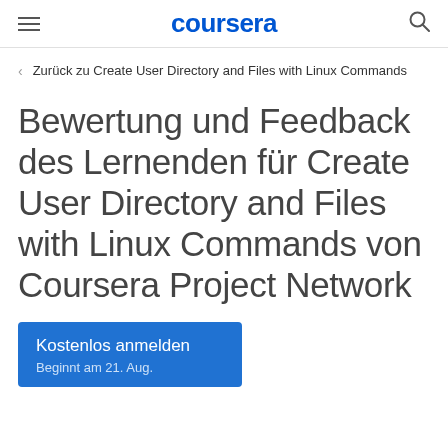coursera
Zurück zu Create User Directory and Files with Linux Commands
Bewertung und Feedback des Lernenden für Create User Directory and Files with Linux Commands von Coursera Project Network
Kostenlos anmelden
Beginnt am 21. Aug.